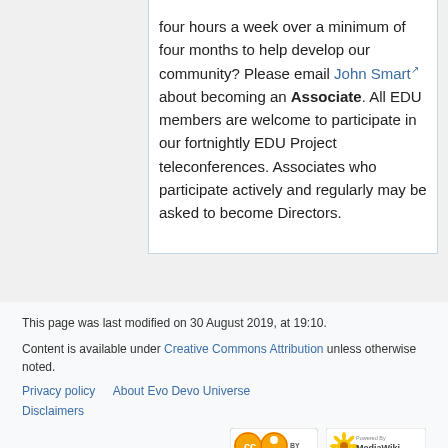four hours a week over a minimum of four months to help develop our community? Please email John Smart about becoming an Associate. All EDU members are welcome to participate in our fortnightly EDU Project teleconferences. Associates who participate actively and regularly may be asked to become Directors.
This page was last modified on 30 August 2019, at 19:10.
Content is available under Creative Commons Attribution unless otherwise noted.
Privacy policy   About Evo Devo Universe
Disclaimers